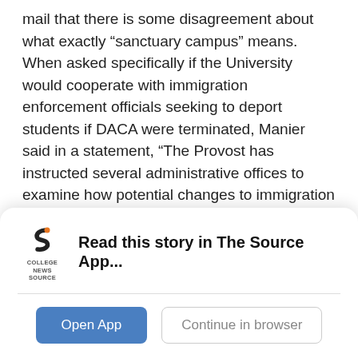mail that there is some disagreement about what exactly “sanctuary campus” means. When asked specifically if the University would cooperate with immigration enforcement officials seeking to deport students if DACA were terminated, Manier said in a statement, “The Provost has instructed several administrative offices to examine how potential changes to immigration policies could affect our university and the community, especially in relation to our students and staff who currently benefit from DACA.”

Under DACA, children and young adults who entered
[Figure (logo): College News Source app logo — stylized orange and dark 'S' shape icon with text 'COLLEGE NEWS SOURCE' below]
Read this story in The Source App...
Open App   Continue in browser